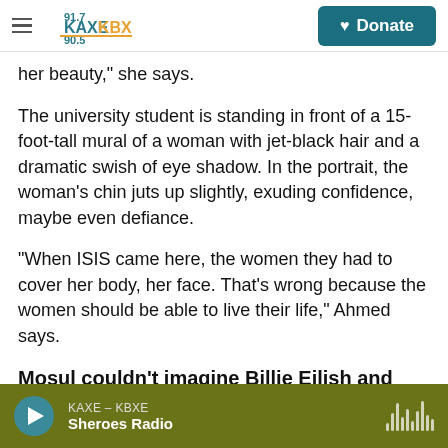KAXE 91.7 / KBXE 90.5 | Donate
her beauty," she says.
The university student is standing in front of a 15-foot-tall mural of a woman with jet-black hair and a dramatic swish of eye shadow. In the portrait, the woman's chin juts up slightly, exuding confidence, maybe even defiance.
"When ISIS came here, the women they had to cover her body, her face. That's wrong because the women should be able to live their life," Ahmed says.
Mosul couldn't imagine Billie Eilish and
KAXE – KBXE | Sheroes Radio